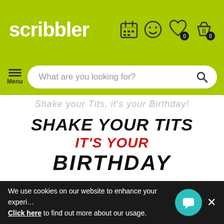scribbler
[Figure (screenshot): Scribbler website header with logo, navigation icons (calendar, smiley, heart with 0, basket with 0), menu button, and search bar reading 'What are you looking for?']
Shake your Tits, it's your Birthday!
[Figure (photo): Birthday card showing text 'SHAKE YOUR TITS it's YOUR BIRTHDAY' in bold mixed fonts, with illustration of birds at the bottom]
We use cookies on our website to enhance your experience. Click here to find out more about our usage.